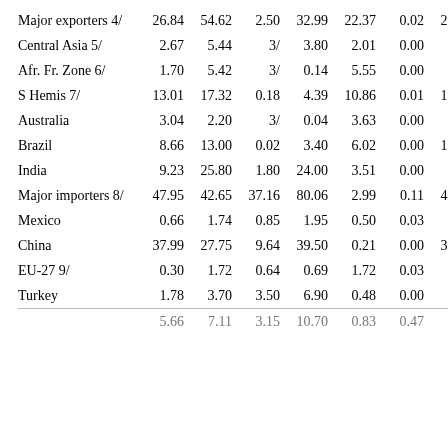|  | Col1 | Col2 | Col3 | Col4 | Col5 | Col6 | Col7 |
| --- | --- | --- | --- | --- | --- | --- | --- |
| Major exporters 4/ | 26.84 | 54.62 | 2.50 | 32.99 | 22.37 | 0.02 | 28.57 |
| Central Asia 5/ | 2.67 | 5.44 | 3/ | 3.80 | 2.01 | 0.00 | 2.31 |
| Afr. Fr. Zone 6/ | 1.70 | 5.42 | 3/ | 0.14 | 5.55 | 0.00 | 1.44 |
| S Hemis 7/ | 13.01 | 17.32 | 0.18 | 4.39 | 10.86 | 0.01 | 15.24 |
| Australia | 3.04 | 2.20 | 3/ | 0.04 | 3.63 | 0.00 | 1.57 |
| Brazil | 8.66 | 13.00 | 0.02 | 3.40 | 6.02 | 0.00 | 12.26 |
| India | 9.23 | 25.80 | 1.80 | 24.00 | 3.51 | 0.00 | 9.31 |
| Major importers 8/ | 47.95 | 42.65 | 37.16 | 80.06 | 2.99 | 0.11 | 44.60 |
| Mexico | 0.66 | 1.74 | 0.85 | 1.95 | 0.50 | 0.03 | 0.77 |
| China | 37.99 | 27.75 | 9.64 | 39.50 | 0.21 | 0.00 | 35.67 |
| EU-27 9/ | 0.30 | 1.72 | 0.64 | 0.69 | 1.72 | 0.03 | 0.23 |
| Turkey | 1.78 | 3.70 | 3.50 | 6.90 | 0.48 | 0.00 | 1.59 |
| (partial row) | 5.66 | 7.11 | 3.15 | 10.70 | 0.83 | 0.47 | 5.72 |